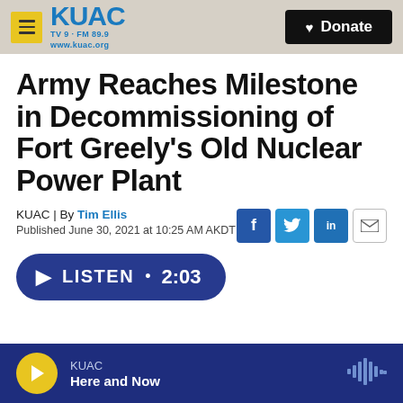KUAC TV 9 · FM 89.9 www.kuac.org | Donate
Army Reaches Milestone in Decommissioning of Fort Greely's Old Nuclear Power Plant
KUAC | By Tim Ellis
Published June 30, 2021 at 10:25 AM AKDT
[Figure (other): Social share icons: Facebook, Twitter, LinkedIn, Email]
LISTEN • 2:03
KUAC | Here and Now